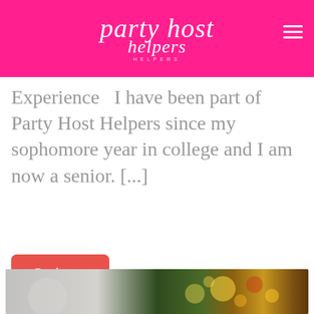party host helpers
Experience    I have been part of Party Host Helpers since my sophomore year in college and I am now a senior. [...]
Read more
[Figure (photo): Bottom portion of a photo showing a person near a Christmas tree with bokeh lights in the background]